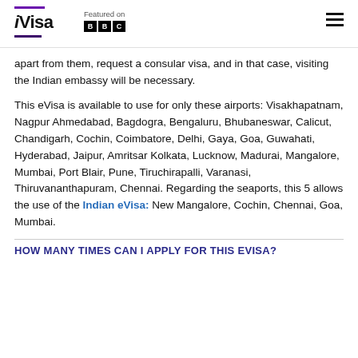iVisa | Featured on BBC
apart from them, request a consular visa, and in that case, visiting the Indian embassy will be necessary.
This eVisa is available to use for only these airports: Visakhapatnam, Nagpur Ahmedabad, Bagdogra, Bengaluru, Bhubaneswar, Calicut, Chandigarh, Cochin, Coimbatore, Delhi, Gaya, Goa, Guwahati, Hyderabad, Jaipur, Amritsar Kolkata, Lucknow, Madurai, Mangalore, Mumbai, Port Blair, Pune, Tiruchirapalli, Varanasi, Thiruvananthapuram, Chennai. Regarding the seaports, this 5 allows the use of the Indian eVisa: New Mangalore, Cochin, Chennai, Goa, Mumbai.
HOW MANY TIMES CAN I APPLY FOR THIS EVISA?